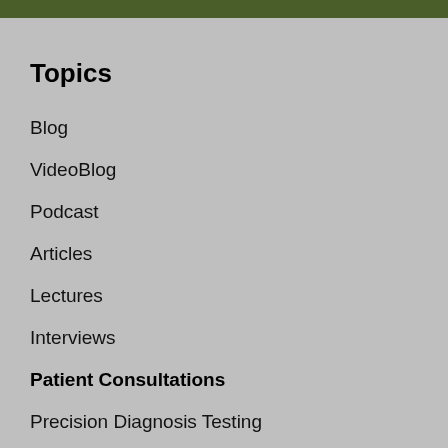Topics
Blog
VideoBlog
Podcast
Articles
Lectures
Interviews
Patient Consultations
Precision Diagnosis Testing
Connective Tissue
Mitochondrial Disease